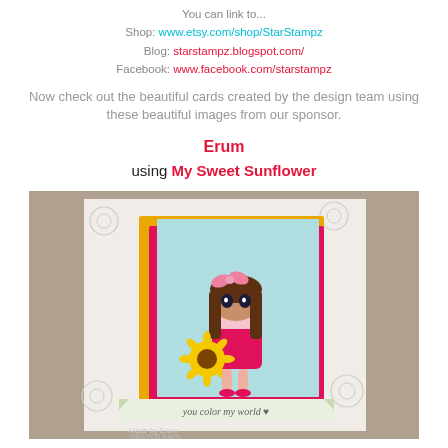You can link to...
Shop: www.etsy.com/shop/StarStampz
Blog: starstampz.blogspot.com/
Facebook: www.facebook.com/starstampz
Now check out the beautiful cards created by the design team using these beautiful images from our sponsor.
Erum
using My Sweet Sunflower
[Figure (photo): A handmade greeting card featuring a cute anime-style girl holding a large sunflower, wearing a pink bow, set against a floral background. The card has layers of yellow, pink/magenta, and teal cardstock. A banner reads 'You color my world' with a heart. At the bottom it reads 'Made by Erum' and 'VIBGYOR Krafts' with a blog URL.]